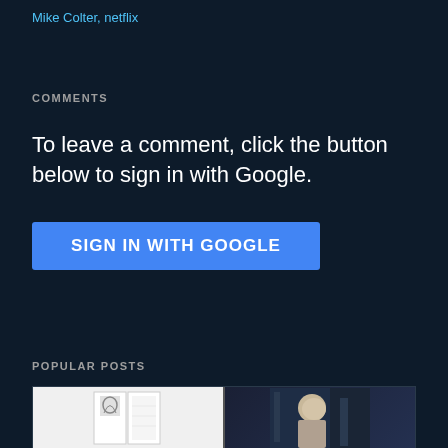Mike Colter, netflix
COMMENTS
To leave a comment, click the button below to sign in with Google.
SIGN IN WITH GOOGLE
POPULAR POSTS
[Figure (photo): Two photos side by side showing artwork on the left and a person on the right]